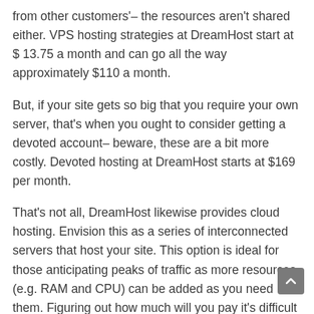from other customers'– the resources aren't shared either. VPS hosting strategies at DreamHost start at $ 13.75 a month and can go all the way approximately $110 a month.
But, if your site gets so big that you require your own server, that's when you ought to consider getting a devoted account– beware, these are a bit more costly. Devoted hosting at DreamHost starts at $169 per month.
That's not all, DreamHost likewise provides cloud hosting. Envision this as a series of interconnected servers that host your site. This option is ideal for those anticipating peaks of traffic as more resources (e.g. RAM and CPU) can be added as you need them. Figuring out how much will you pay it's difficult as the rate depends upon the resources (e.g. RAM or